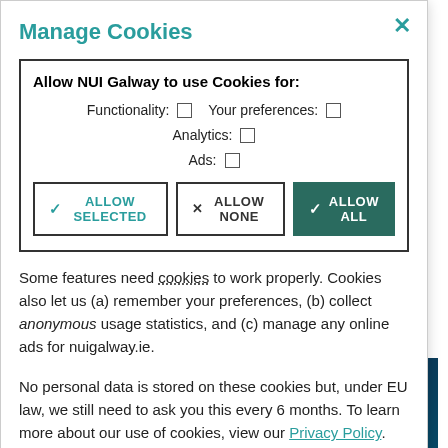Manage Cookies
Allow NUI Galway to use Cookies for: Functionality: ☐  Your preferences: ☐  Analytics: ☐  Ads: ☐
ALLOW SELECTED | ALLOW NONE | ALLOW ALL
Some features need cookies to work properly. Cookies also let us (a) remember your preferences, (b) collect anonymous usage statistics, and (c) manage any online ads for nuigalway.ie.
No personal data is stored on these cookies but, under EU law, we still need to ask you this every 6 months. To learn more about our use of cookies, view our Privacy Policy.
[Figure (photo): Abstract technology background with glowing hexagonal network nodes and code elements in blue and cyan tones]